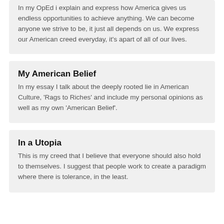In my OpEd i explain and express how America gives us endless opportunities to achieve anything. We can become anyone we strive to be, it just all depends on us. We express our American creed everyday, it's apart of all of our lives.
My American Belief
In my essay I talk about the deeply rooted lie in American Culture, 'Rags to Riches' and include my personal opinions as well as my own 'American Belief'.
In a Utopia
This is my creed that I believe that everyone should also hold to themselves. I suggest that people work to create a paradigm where there is tolerance, in the least.